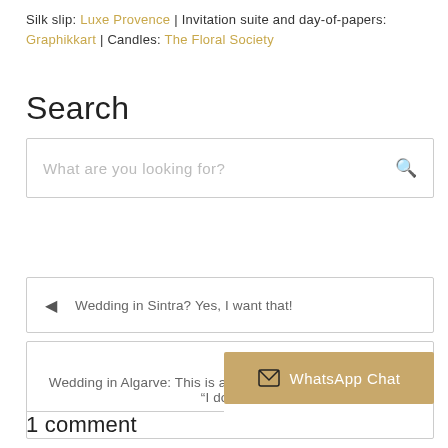Silk slip: Luxe Provence | Invitation suite and day-of-papers: Graphikkart | Candles: The Floral Society
Search
[Figure (screenshot): Search input box with placeholder text 'What are you looking for?' and a search icon (magnifying glass) on the right]
◄  Wedding in Sintra? Yes, I want that!
Wedding in Algarve: This is all you need to know to say "I do"  ►
[Figure (other): WhatsApp Chat button with envelope/mail icon on tan/gold background]
1 comment